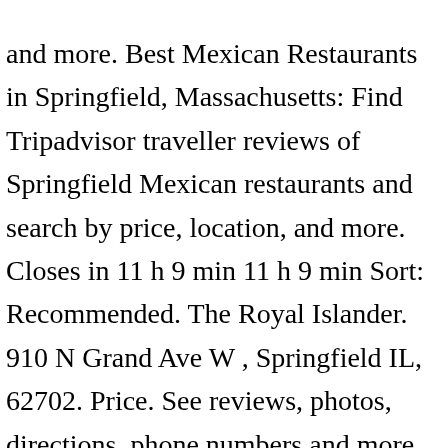and more. Best Mexican Restaurants in Springfield, Massachusetts: Find Tripadvisor traveller reviews of Springfield Mexican restaurants and search by price, location, and more. Closes in 11 h 9 min 11 h 9 min Sort: Recommended. The Royal Islander. 910 N Grand Ave W , Springfield IL, 62702. Price. See reviews, photos, directions, phone numbers and more for the best Mexican Restaurants in Springfield, IL. Sandwiches, Mexican, Fast Food (217) 528-7343. The bottomline for me, there are 19 Mexican restaurants in Springfield and this to me fits into